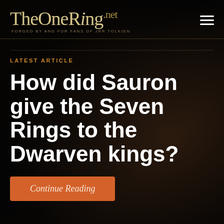[Figure (logo): TheOneRing.net logo with tagline 'FORGED BY AND FOR FANS OF JRR TOLKIEN']
LATEST ARTICLE
How did Sauron give the Seven Rings to the Dwarven kings?
Continue Reading